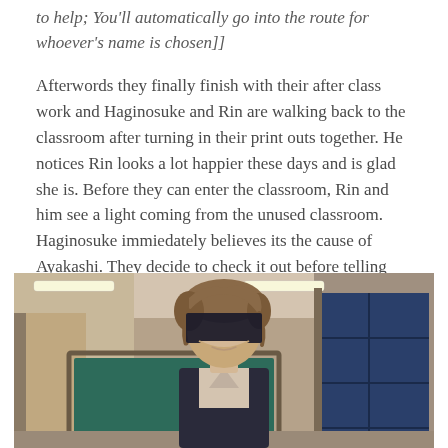to help; You'll automatically go into the route for whoever's name is chosen]]
Afterwords they finally finish with their after class work and Haginosuke and Rin are walking back to the classroom after turning in their print outs together. He notices Rin looks a lot happier these days and is glad she is. Before they can enter the classroom, Rin and him see a light coming from the unused classroom. Haginosuke immiedately believes its the cause of Ayakashi. They decide to check it out before telling everyone else and there Rin sees a man standing there.
[Figure (illustration): An anime-style illustration of a classroom scene. A young man with brown messy hair and a face obscured by a dark shadow/censor bar stands in front of a chalkboard. The classroom has fluorescent lights on the ceiling, a wooden door frame, blue-tinted windows in the background, and a dark chalkboard. The character wears a dark uniform.]